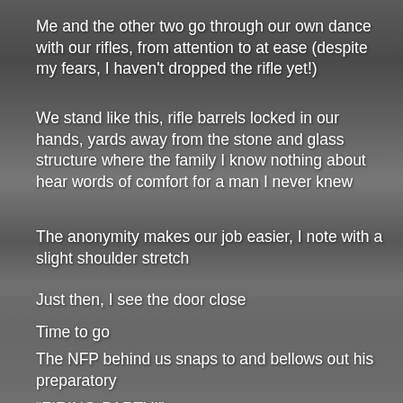Me and the other two go through our own dance with our rifles, from attention to at ease (despite my fears, I haven't dropped the rifle yet!)
We stand like this, rifle barrels locked in our hands, yards away from the stone and glass structure where the family I know nothing about hear words of comfort for a man I never knew
The anonymity makes our job easier, I note with a slight shoulder stretch
Just then, I see the door close
Time to go
The NFP behind us snaps to and bellows out his preparatory
“FIRING-PARTY!”
Step one
“TENCH-HUT!”